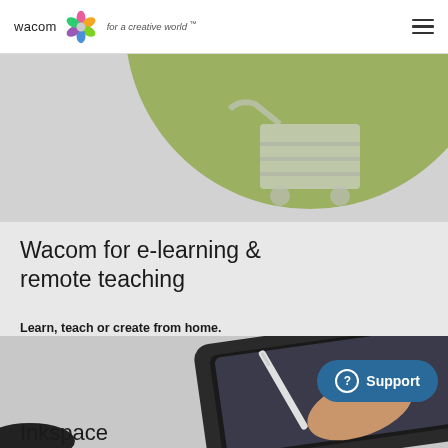wacom for a creative world™
[Figure (illustration): Hero banner with olive-green circle and shopping cart icon on grey background]
Wacom for e-learning & remote teaching
Learn, teach or create from home.
[Figure (photo): Hand holding a stylus pen writing on a Wacom tablet, photographed on grey background]
Support
Inkspace